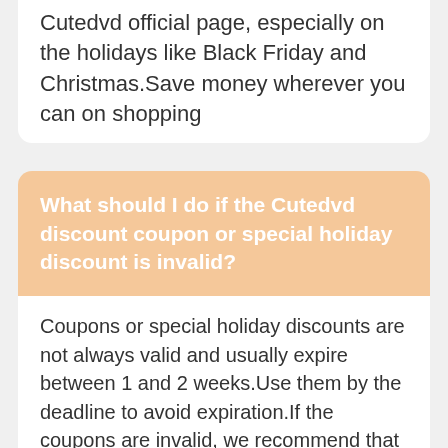Cutedvd official page, especially on the holidays like Black Friday and Christmas.Save money wherever you can on shopping
What should I do if the Cutedvd discount coupon or special holiday discount is invalid?
Coupons or special holiday discounts are not always valid and usually expire between 1 and 2 weeks.Use them by the deadline to avoid expiration.If the coupons are invalid, we recommend that you take a look at Cutedvd's clearance or limited-time discounted products. They also offer large discounts.On the official website, you can check for discounts if you have a special occupation such as military, teacher, etc.